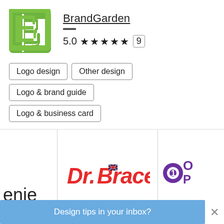[Figure (logo): BrandGarden green letter B logo mark]
BrandGarden
5.0 ★★★★★ (9)
Logo design
Other design
Logo & brand guide
Logo & business card
[Figure (screenshot): Portfolio panel showing partial text 'enie' on left, Dr.Brace logo in center, partial purple logo on right]
Dr.Brace
Design tips in your inbox?